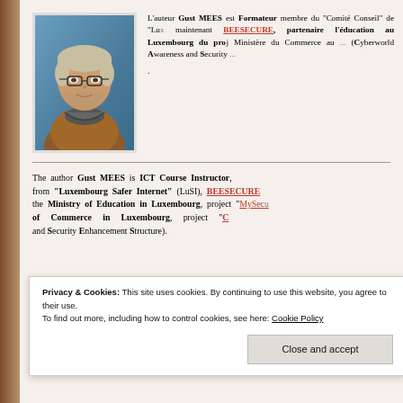[Figure (photo): Portrait photo of Gust MEES, a middle-aged man with glasses and gray-blond hair wearing a brown jacket, against a blue background.]
L'auteur Gust MEES est Formateur membre du "Comité Conseil" de "Lu... maintenant BEESECURE, partenaire l'éducation au Luxembourg du proj... Ministère du Commerce au ... (Cyberworld Awareness and Security ...
The author Gust MEES is ICT Course Instructor, from "Luxembourg Safer Internet" (LuSI), BEESECURE the Ministry of Education in Luxembourg, project "MySec... of Commerce in Luxembourg, project "C... and Security Enhancement Structure).
Privacy & Cookies: This site uses cookies. By continuing to use this website, you agree to their use. To find out more, including how to control cookies, see here: Cookie Policy
Close and accept